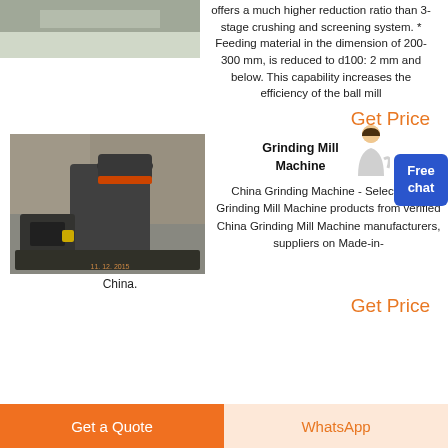[Figure (photo): Outdoor scene, top portion of image, light-colored building or ground]
offers a much higher reduction ratio than 3-stage crushing and screening system. * Feeding material in the dimension of 200-300 mm, is reduced to d100: 2 mm and below. This capability increases the efficiency of the ball mill
Get Price
[Figure (photo): Grinding mill machine outdoors, dark machinery against rocky background, dated 11.12.2015]
Grinding Mill Machine
[Figure (other): Free chat button with avatar]
China Grinding Machine - Select 2021 Grinding Mill Machine products from verified China Grinding Mill Machine manufacturers, suppliers on Made-in-China.
China.
Get Price
Get a Quote
WhatsApp